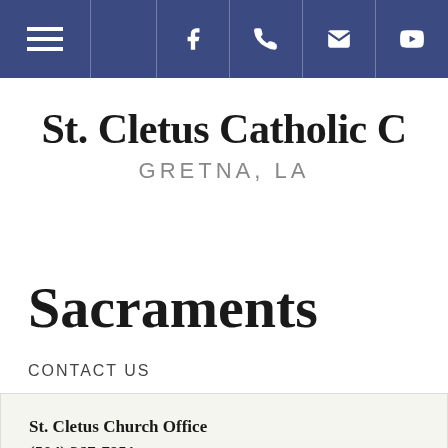Navigation bar with hamburger menu, Facebook, phone, email, and YouTube icons
St. Cletus Catholic C
GRETNA, LA
Sacraments
CONTACT US
St. Cletus Church Office
(504) 367-7951
stcletuschurch@arch-no.org